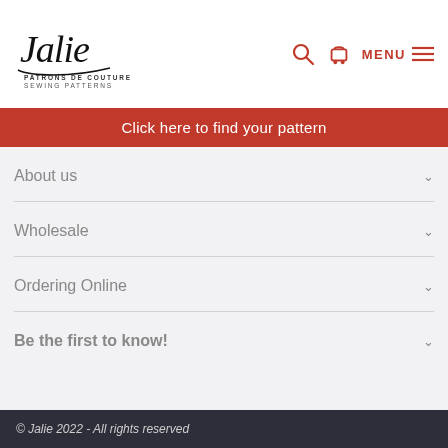[Figure (logo): Jalie sewing patterns logo with cursive 'Jalie' text and subtitle 'PATRONS DE COUTURE / SEWING PATTERNS']
Click here to find your pattern
About us
Wholesale
Ordering Online
Be the first to know!
© Jalie 2022 - All rights reserved